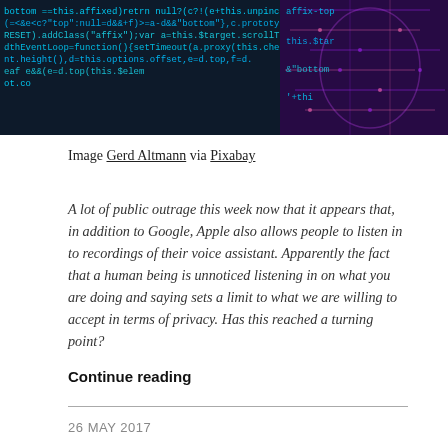[Figure (photo): A banner image showing overlaid code text in blue/teal on a dark background with a digital/circuit board face on the right side in purple and pink tones.]
Image Gerd Altmann via Pixabay
A lot of public outrage this week now that it appears that, in addition to Google, Apple also allows people to listen in to recordings of their voice assistant. Apparently the fact that a human being is unnoticed listening in on what you are doing and saying sets a limit to what we are willing to accept in terms of privacy. Has this reached a turning point?
Continue reading
26 MAY 2017